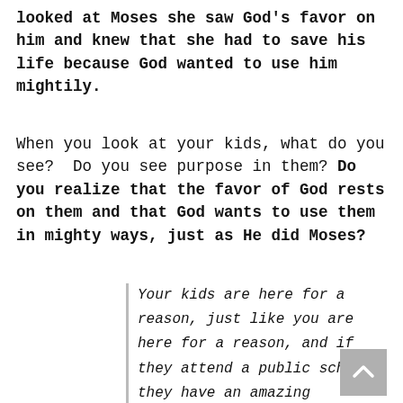looked at Moses she saw God's favor on him and knew that she had to save his life because God wanted to use him mightily.
When you look at your kids, what do you see?  Do you see purpose in them? Do you realize that the favor of God rests on them and that God wants to use them in mighty ways, just as He did Moses?
Your kids are here for a reason, just like you are here for a reason, and if they attend a public school, they have an amazing opportunity in